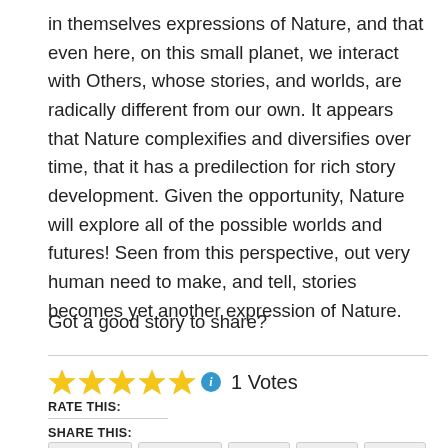in themselves expressions of Nature, and that even here, on this small planet, we interact with Others, whose stories, and worlds, are radically different from our own. It appears that Nature complexifies and diversifies over time, that it has a predilection for rich story development. Given the opportunity, Nature will explore all of the possible worlds and futures! Seen from this perspective, out very human need to make, and tell, stories becomes yet another expression of Nature.
Got a good story to share?
[Figure (other): Five yellow star rating icons followed by a blue info icon and the text '1 Votes']
RATE THIS:
SHARE THIS: